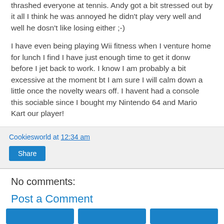thrashed everyone at tennis. Andy got a bit stressed out by it all I think he was annoyed he didn't play very well and well he dosn't like losing either ;-)
I have even being playing Wii fitness when I venture home for lunch I find I have just enough time to get it donw before I jet back to work. I know I am probably a bit excessive at the moment bt I am sure I will calm down a little once the novelty wears off. I havent had a console this sociable since I bought my Nintendo 64 and Mario Kart our player!
Cookiesworld at 12:34 am
Share
No comments:
Post a Comment